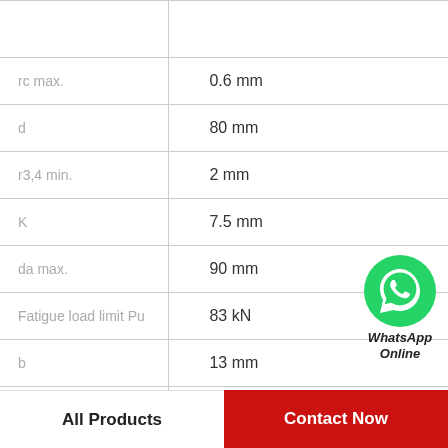| Parameter | Value |
| --- | --- |
| rc max. | 0.6 mm |
| d | 80 mm |
| r3,4 min. | 2 mm |
| K | 7.5 mm |
| da max. | 90 mm |
| Fatigue load limit Pu | 83 kN |
| b | 13 mm |
| T | 92 mm |
[Figure (logo): WhatsApp Online badge with green WhatsApp logo icon and text 'WhatsApp Online' in bold italic]
All Products
Contact Now